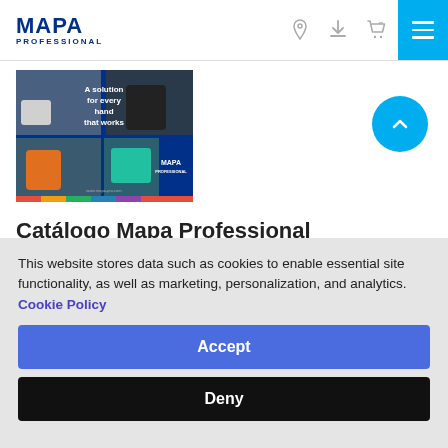MAPA PROFESSIONAL — navigation header with logo, icons, and hamburger menu
[Figure (photo): MAPA Professional product catalog cover showing workers wearing protective gloves with text 'A solution for every hand that works' and MAPA Professional logo on blue background]
Catálogo Mapa Professional
This website stores data such as cookies to enable essential site functionality, as well as marketing, personalization, and analytics. Cookie Policy
Accept
Deny